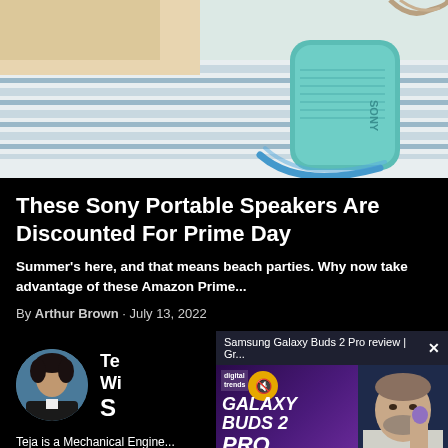[Figure (photo): Sony portable Bluetooth speaker in teal/mint color resting on striped beach towel with rope visible]
These Sony Portable Speakers Are Discounted For Prime Day
Summer's here, and that means beach parties. Why now take advantage of these Amazon Prime...
By Arthur Brown · July 13, 2022
[Figure (photo): Circular author avatar photo of Teja, a young man]
Teja is a Mechanical Engine... about traveling. When he is
[Figure (screenshot): Video popup overlay showing Samsung Galaxy Buds 2 Pro review from Digital Trends with reviewer photo, with close button X]